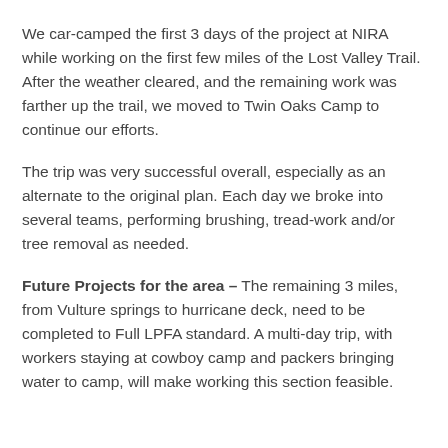We car-camped the first 3 days of the project at NIRA while working on the first few miles of the Lost Valley Trail. After the weather cleared, and the remaining work was farther up the trail, we moved to Twin Oaks Camp to continue our efforts.
The trip was very successful overall, especially as an alternate to the original plan. Each day we broke into several teams, performing brushing, tread-work and/or tree removal as needed.
Future Projects for the area – The remaining 3 miles, from Vulture springs to hurricane deck, need to be completed to Full LPFA standard. A multi-day trip, with workers staying at cowboy camp and packers bringing water to camp, will make working this section feasible.